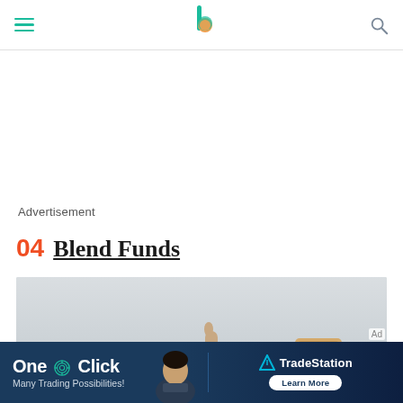Navigation bar with hamburger menu, logo, and search icon
Advertisement
04 Blend Funds
[Figure (photo): Light gray background image area with a person pointing upward and wooden letter tiles visible at the bottom right (letters appear to be scrabble-style tiles)]
[Figure (screenshot): Advertisement banner: 'One Click — Many Trading Possibilities!' with TradeStation logo and 'Learn More' button on dark navy background. Shows a man in the center.]